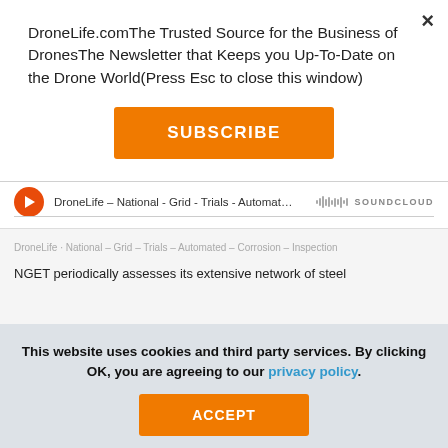DroneLife.comThe Trusted Source for the Business of DronesThe Newsletter that Keeps you Up-To-Date on the Drone World(Press Esc to close this window)
SUBSCRIBE
DroneLife – National - Grid - Trials - Automat... SOUNDCLOUD
DroneLife · National – Grid – Trials – Automated – Corrosion – Inspection
NGET periodically assesses its extensive network of steel
This website uses cookies and third party services. By clicking OK, you are agreeing to our privacy policy.
ACCEPT